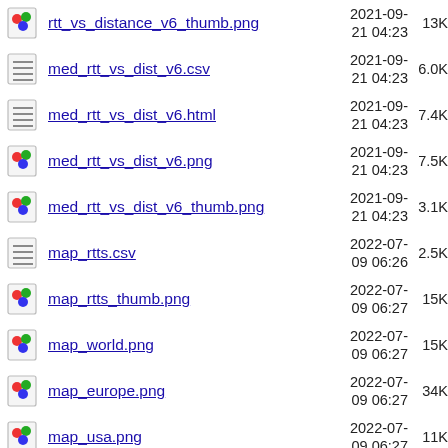rtt_vs_distance_v6_thumb.png  2021-09-21 04:23  13K
med_rtt_vs_dist_v6.csv  2021-09-21 04:23  6.0K
med_rtt_vs_dist_v6.html  2021-09-21 04:23  7.4K
med_rtt_vs_dist_v6.png  2021-09-21 04:23  7.5K
med_rtt_vs_dist_v6_thumb.png  2021-09-21 04:23  3.1K
map_rtts.csv  2022-07-09 06:26  2.5K
map_rtts_thumb.png  2022-07-09 06:27  15K
map_world.png  2022-07-09 06:27  15K
map_europe.png  2022-07-09 06:27  34K
map_usa.png  2022-07-09 06:27  11K
map_africa.png  2022-07-09 06:27  13K
map_south_america.png  2022-07-  7.7K